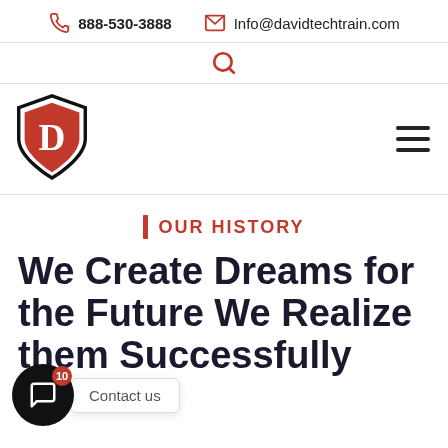888-530-3888   Info@davidtechtrain.com
[Figure (logo): David Tech Training shield logo with red background and white D letter]
OUR HISTORY
We Create Dreams for the Future We Realize them Successfully